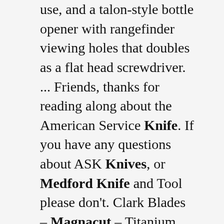use, and a talon-style bottle opener with rangefinder viewing holes that doubles as a flat head screwdriver. ... Friends, thanks for reading along about the American Service Knife. If you have any questions about ASK Knives, or Medford Knife and Tool please don't. Clark Blades – Magnacut – Titanium Frame Lock $700.00. Out of stock. David Clark is a Texas based custom knife maker. All Clark Blades are 100% handmade by David. Please note, due to the hand making process, the logo on this blade is offset and imperfect. (see photo) Magnacut;. MK031SP-01TM-SPCP-Q4 by Medford Knives . $844.80 $600.00 Free Shipping. Out of Stock. View Medford 031SP01TMSP Infraction Framelock S35VN Steel Knife with Tumbled Finish Titanium Handle E-mail a Friend. 4.25" closed.. Search: Dorchester Ma Police Scanner. Officers arrived on scene and located the victim, a Letter Carrier for the U